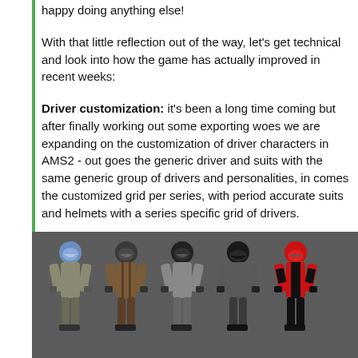happy doing anything else!
With that little reflection out of the way, let’s get technical and look into how the game has actually improved in recent weeks:
Driver customization: it’s been a long time coming but after finally working out some exporting woes we are expanding on the customization of driver characters in AMS2 - out goes the generic driver and suits with the same generic group of drivers and personalities, in comes the customized grid per series, with period accurate suits and helmets with a series specific grid of drivers.
[Figure (photo): Five 3D rendered racing driver character models standing in a row against a grey background, each wearing different racing suits and helmets in various colors including blue, brown/tan, grey, black, and red/black.]